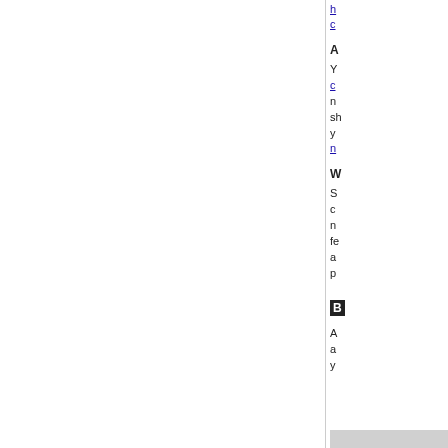h... c...
A
Y... c... n... sh... y... n...
W
S... c... n... fe... a... p...
B
A... a... y...